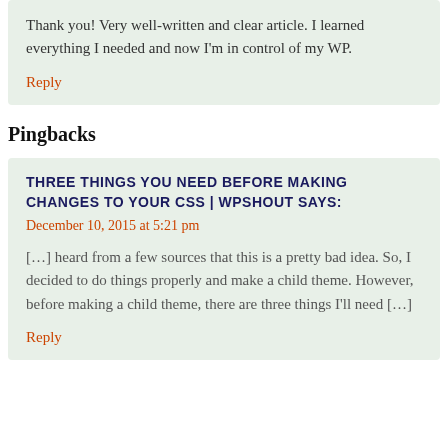Thank you! Very well-written and clear article. I learned everything I needed and now I'm in control of my WP.
Reply
Pingbacks
THREE THINGS YOU NEED BEFORE MAKING CHANGES TO YOUR CSS | WPSHOUT SAYS:
December 10, 2015 at 5:21 pm
[…] heard from a few sources that this is a pretty bad idea. So, I decided to do things properly and make a child theme. However, before making a child theme, there are three things I'll need […]
Reply